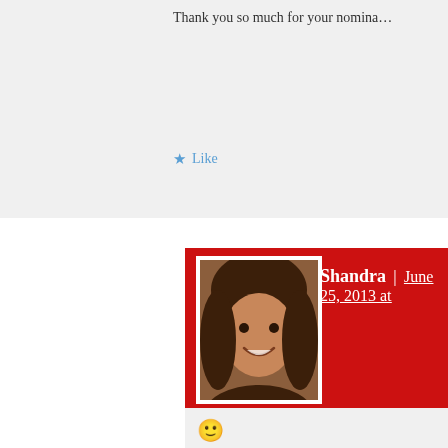Thank you so much for your nomina…
Like
Shandra | June 25, 2013 at
[Figure (other): Smiley face emoji 🙂]
Like
prosperinginhisglory | June 23, 2013 at
very inspirational!
Liked by 1 person